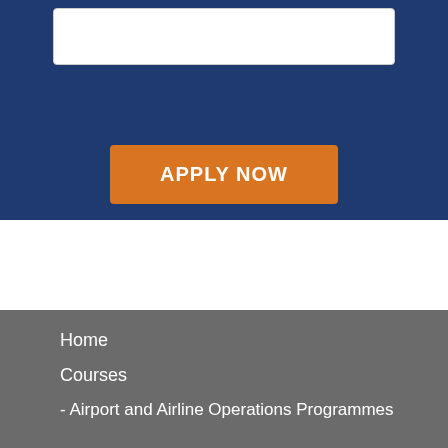[Figure (other): White input box on dark blue background]
APPLY NOW
Home
Courses
- Airport and Airline Operations Programmes